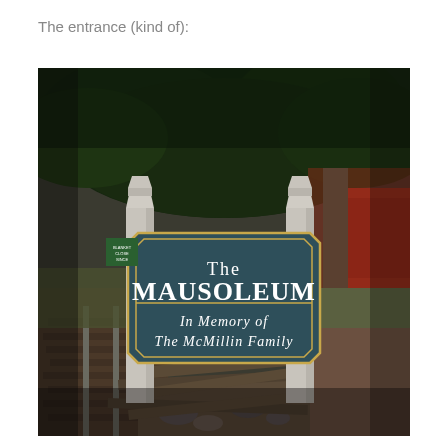The entrance (kind of):
[Figure (photo): A photograph of a dark teal/slate-colored sign with gold border trim, reading 'The MAUSOLEUM / In Memory of / The McMillin Family', mounted between two white stone/concrete posts. Behind the sign are evergreen trees, a red building partially visible, and old wooden fence planks on the ground. The setting appears to be a historical park or estate grounds.]